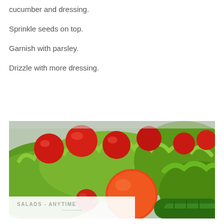cucumber and dressing.
Sprinkle seeds on top.
Garnish with parsley.
Drizzle with more dressing.
[Figure (photo): Close-up photo of a fresh salad with cherry tomatoes, green lettuce leaves, a large orange tomato, and cucumbers]
SALADS - ANYTIME